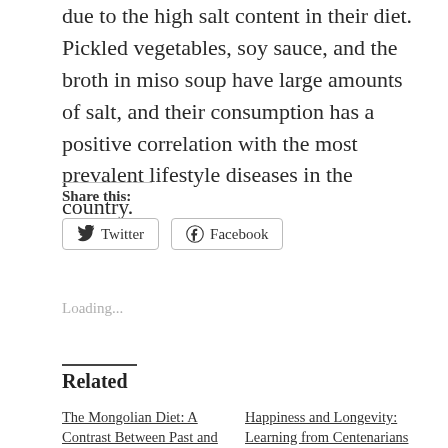due to the high salt content in their diet. Pickled vegetables, soy sauce, and the broth in miso soup have large amounts of salt, and their consumption has a positive correlation with the most prevalent lifestyle diseases in the country.
Share this:
[Figure (other): Twitter and Facebook share buttons]
Loading...
Related
The Mongolian Diet: A Contrast Between Past and Present
Happiness and Longevity: Learning from Centenarians